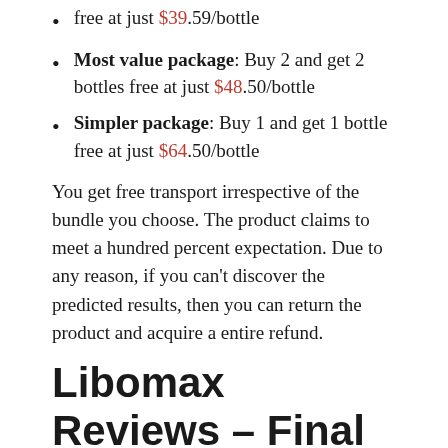free at just $39.59/bottle
Most value package: Buy 2 and get 2 bottles free at just $48.50/bottle
Simpler package: Buy 1 and get 1 bottle free at just $64.50/bottle
You get free transport irrespective of the bundle you choose. The product claims to meet a hundred percent expectation. Due to any reason, if you can't discover the predicted results, then you can return the product and acquire a entire refund.
Libomax Reviews – Final Verdict
The majority of Libomax reviews on various online